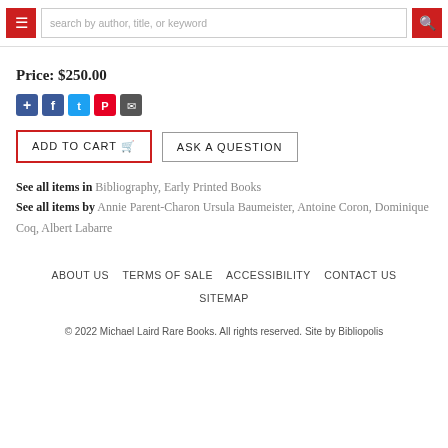search by author, title, or keyword
Price: $250.00
[Figure (other): Social sharing icons: add (+), Facebook, Twitter, Pinterest, Email]
ADD TO CART   ASK A QUESTION
See all items in Bibliography, Early Printed Books
See all items by Annie Parent-Charon Ursula Baumeister, Antoine Coron, Dominique Coq, Albert Labarre
ABOUT US   TERMS OF SALE   ACCESSIBILITY   CONTACT US   SITEMAP
© 2022 Michael Laird Rare Books. All rights reserved. Site by Bibliopolis